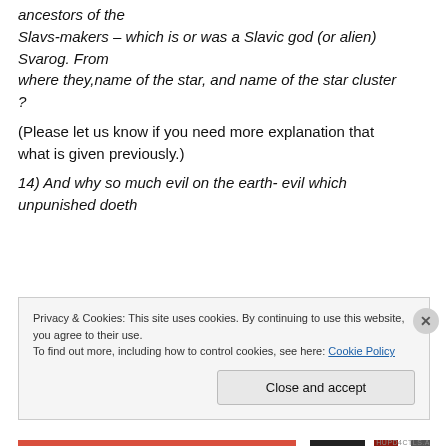ancestors of the Slavs-makers – which is or was a Slavic god (or alien) Svarog. From where they,name of the star, and name of the star cluster ?
(Please let us know if you need more explanation that what is given previously.)
14) And why so much evil on the earth- evil which unpunished doeth
Privacy & Cookies: This site uses cookies. By continuing to use this website, you agree to their use. To find out more, including how to control cookies, see here: Cookie Policy
Close and accept